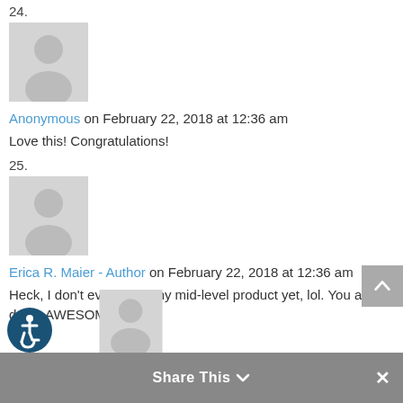24.
[Figure (illustration): Grey placeholder avatar silhouette for comment #24]
Anonymous on February 22, 2018 at 12:36 am
Love this! Congratulations!
25.
[Figure (illustration): Grey placeholder avatar silhouette for comment #25]
Erica R. Maier - Author on February 22, 2018 at 12:36 am
Heck, I don't even have my mid-level product yet, lol. You are doing AWESOME!!
[Figure (illustration): Partial grey placeholder avatar silhouette for next comment]
[Figure (illustration): Accessibility icon (wheelchair symbol) in dark blue circle]
Share This ∨  ×